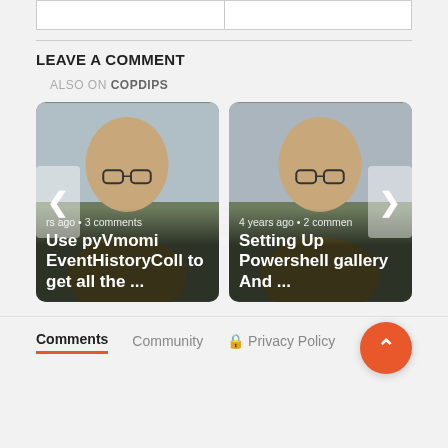LEAVE A COMMENT
ALSO ON COPDIPS
[Figure (screenshot): Carousel of two blog post cards. Left card: 'Use pyVmomi EventHistoryColl to get all the ...' with metadata 'years ago • 3 comments'. Right card: 'Setting Up Powershell gallery And ...' with metadata '4 years ago • 2 comments'. Navigation arrows on both sides.]
Comments  Community  Privacy Policy